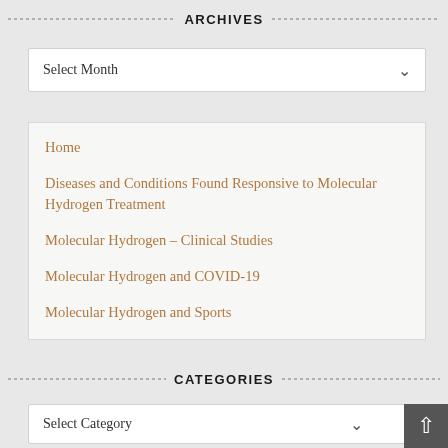ARCHIVES
Select Month
Home
Diseases and Conditions Found Responsive to Molecular Hydrogen Treatment
Molecular Hydrogen – Clinical Studies
Molecular Hydrogen and COVID-19
Molecular Hydrogen and Sports
CATEGORIES
Select Category